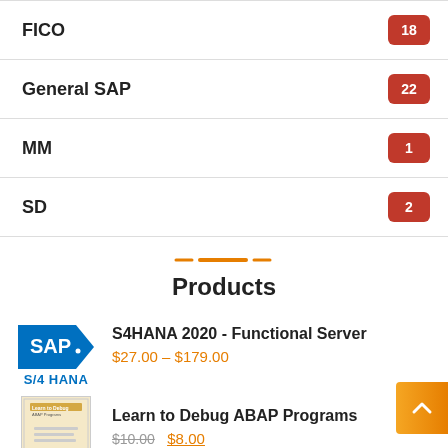FICO 18
General SAP 22
MM 1
SD 2
Products
S4HANA 2020 - Functional Server $27.00 – $179.00
Learn to Debug ABAP Programs $10.00 $8.00